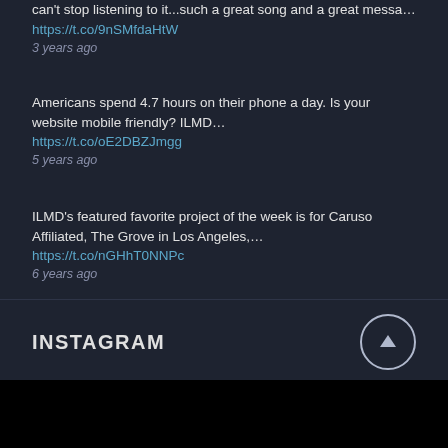can't stop listening to it...such a great song and a great messa… https://t.co/9nSMfdaHtW
3 years ago
Americans spend 4.7 hours on their phone a day. Is your website mobile friendly? ILMD… https://t.co/oE2DBZJmgg
5 years ago
ILMD's featured favorite project of the week is for Caruso Affiliated, The Grove in Los Angeles,… https://t.co/nGHhT0NNPc
6 years ago
INSTAGRAM
[Figure (photo): Black rectangular image area, part of Instagram section]